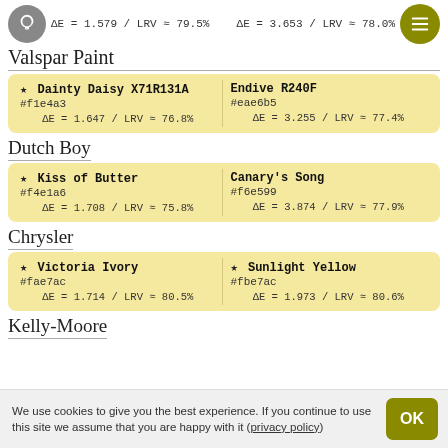ΔE = 1.579 / LRV ≈ 79.5%   ΔE = 3.653 / LRV ≈ 78.0%
Valspar Paint
★ Dainty Daisy X71R131A
#f1e4a3
ΔE = 1.647 / LRV ≈ 76.8%
Endive R240F
#eae6b5
ΔE = 3.255 / LRV ≈ 77.4%
Dutch Boy
★ Kiss of Butter
#f4e1a6
ΔE = 1.708 / LRV ≈ 75.8%
Canary's Song
#f6e599
ΔE = 3.874 / LRV ≈ 77.9%
Chrysler
★ Victoria Ivory
#fae7ac
ΔE = 1.714 / LRV ≈ 80.5%
★ Sunlight Yellow
#fbe7ac
ΔE = 1.973 / LRV ≈ 80.6%
Kelly-Moore
We use cookies to give you the best experience. If you continue to use this site we assume that you are happy with it (privacy policy)